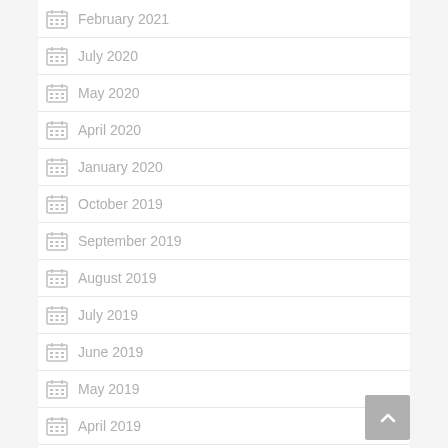February 2021
July 2020
May 2020
April 2020
January 2020
October 2019
September 2019
August 2019
July 2019
June 2019
May 2019
April 2019